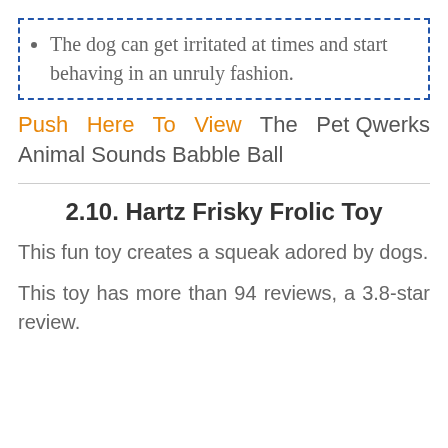The dog can get irritated at times and start behaving in an unruly fashion.
Push Here To View The Pet Qwerks Animal Sounds Babble Ball
2.10. Hartz Frisky Frolic Toy
This fun toy creates a squeak adored by dogs.
This toy has more than 94 reviews, a 3.8-star review.